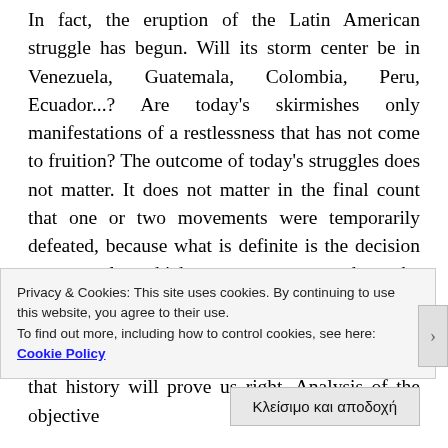In fact, the eruption of the Latin American struggle has begun. Will its storm center be in Venezuela, Guatemala, Colombia, Peru, Ecuador...? Are today's skirmishes only manifestations of a restlessness that has not come to fruition? The outcome of today's struggles does not matter. It does not matter in the final count that one or two movements were temporarily defeated, because what is definite is the decision to struggle which matures every day, the consciousness of the need for revolutionary change, and the certainty that it is possible. This is a prediction. We make it with the conviction that history will prove us right. Analysis of the objective
Privacy & Cookies: This site uses cookies. By continuing to use this website, you agree to their use.
To find out more, including how to control cookies, see here: Cookie Policy